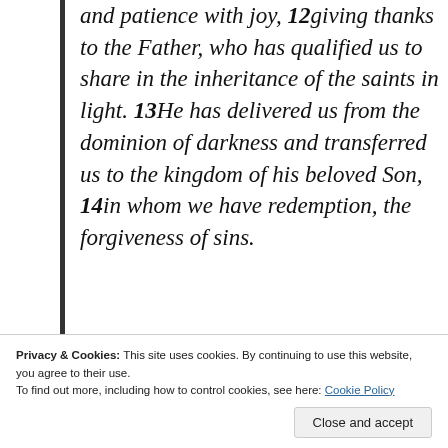and patience with joy, 12giving thanks to the Father, who has qualified us to share in the inheritance of the saints in light. 13He has delivered us from the dominion of darkness and transferred us to the kingdom of his beloved Son, 14in whom we have redemption, the forgiveness of sins.
[Figure (screenshot): Advertisement banner: 'Build a writing habit. Post on the go.' with a WordPress logo and 'GET THE APP' call to action button on a light blue background.]
Privacy & Cookies: This site uses cookies. By continuing to use this website, you agree to their use. To find out more, including how to control cookies, see here: Cookie Policy